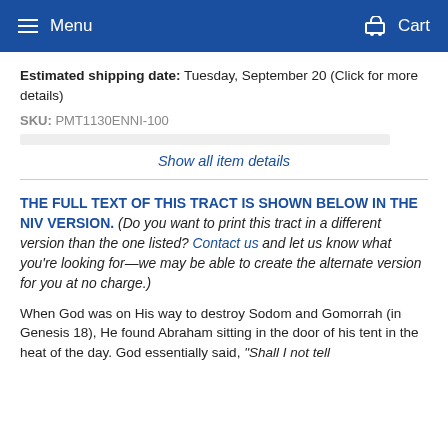Menu   Cart
Estimated shipping date: Tuesday, September 20 (Click for more details)
SKU: PMT1130ENNI-100
Show all item details
THE FULL TEXT OF THIS TRACT IS SHOWN BELOW IN THE NIV VERSION. (Do you want to print this tract in a different version than the one listed? Contact us and let us know what you're looking for—we may be able to create the alternate version for you at no charge.)
When God was on His way to destroy Sodom and Gomorrah (in Genesis 18), He found Abraham sitting in the door of his tent in the heat of the day. God essentially said, “Shall I not tell